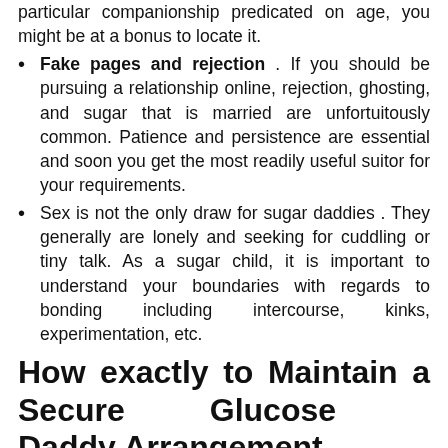particular companionship predicated on age, you might be at a bonus to locate it.
Fake pages and rejection . If you should be pursuing a relationship online, rejection, ghosting, and sugar that is married are unfortuitously common. Patience and persistence are essential and soon you get the most readily useful suitor for your requirements.
Sex is not the only draw for sugar daddies . They generally are lonely and seeking for cuddling or tiny talk. As a sugar child, it is important to understand your boundaries with regards to bonding including intercourse, kinks, experimentation, etc.
How exactly to Maintain a Secure Glucose Daddy Arrangement
The life-style of a sugar daddy or boy is not always